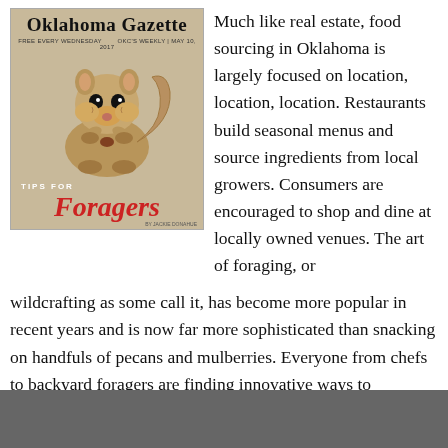[Figure (illustration): Oklahoma Gazette magazine cover with a squirrel illustration and text 'TIPS FOR Foragers']
Much like real estate, food sourcing in Oklahoma is largely focused on location, location, location. Restaurants build seasonal menus and source ingredients from local growers. Consumers are encouraged to shop and dine at locally owned venues. The art of foraging, or wildcrafting as some call it, has become more popular in recent years and is now far more sophisticated than snacking on handfuls of pecans and mulberries. Everyone from chefs to backyard foragers are finding innovative ways to incorporate delicious ingredients found across